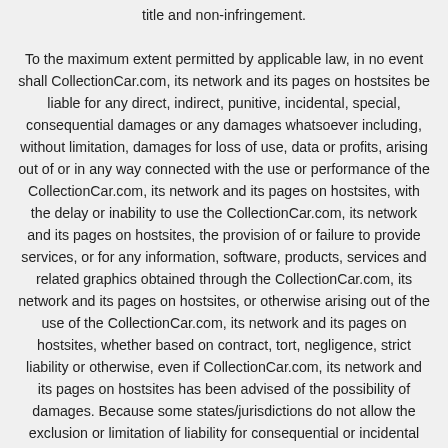title and non-infringement. To the maximum extent permitted by applicable law, in no event shall CollectionCar.com, its network and its pages on hostsites be liable for any direct, indirect, punitive, incidental, special, consequential damages or any damages whatsoever including, without limitation, damages for loss of use, data or profits, arising out of or in any way connected with the use or performance of the CollectionCar.com, its network and its pages on hostsites, with the delay or inability to use the CollectionCar.com, its network and its pages on hostsites, the provision of or failure to provide services, or for any information, software, products, services and related graphics obtained through the CollectionCar.com, its network and its pages on hostsites, or otherwise arising out of the use of the CollectionCar.com, its network and its pages on hostsites, whether based on contract, tort, negligence, strict liability or otherwise, even if CollectionCar.com, its network and its pages on hostsites has been advised of the possibility of damages. Because some states/jurisdictions do not allow the exclusion or limitation of liability for consequential or incidental damages,